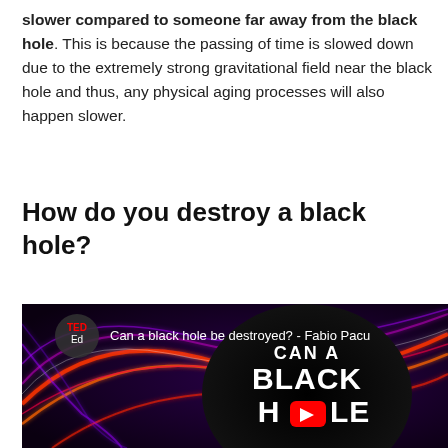slower compared to someone far away from the black hole. This is because the passing of time is slowed down due to the extremely strong gravitational field near the black hole and thus, any physical aging processes will also happen slower.
How do you destroy a black hole?
[Figure (screenshot): YouTube video thumbnail for 'Can a black hole be destroyed? - Fabio Pacu' by TED-Ed. Shows a colorful abstract background with swirling red and purple light streaks, a large black circle in the center with white text reading 'CAN A BLACK HOLE' and a YouTube play button overlay.]